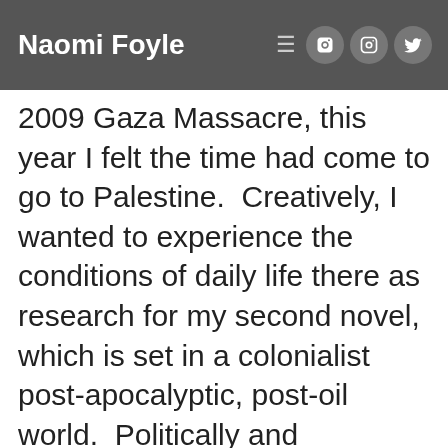Naomi Foyle
2009 Gaza Massacre, this year I felt the time had come to go to Palestine.  Creatively, I wanted to experience the conditions of daily life there as research for my second novel, which is set in a colonialist post-apocalyptic, post-oil world.  Politically and professionally, I hoped to forge stronger ties with local activists, and make what contribution I could to their political and cultural resistance.  In particular, I was going to the West Bank to visit The Free the Theatre in Jeri...